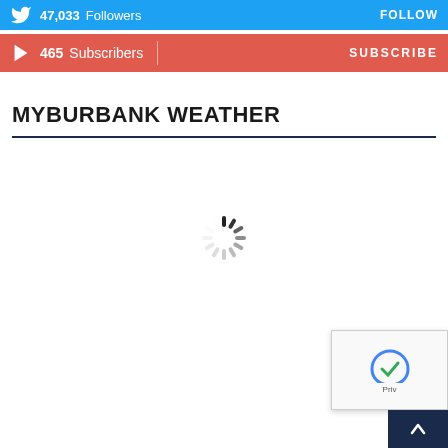[Figure (infographic): Twitter follow bar with bird icon showing 47,033 Followers and FOLLOW button on cyan/blue background]
[Figure (infographic): YouTube subscribe bar with play icon showing 465 Subscribers and SUBSCRIBE button on red background]
MYBURBANK WEATHER
[Figure (other): Loading spinner (activity indicator) centered in white space below the weather section header]
[Figure (screenshot): Bottom-right corner overlay showing reCAPTCHA widget partial view and dark blue scroll-to-top button with up arrow, plus 'Priv...' text]